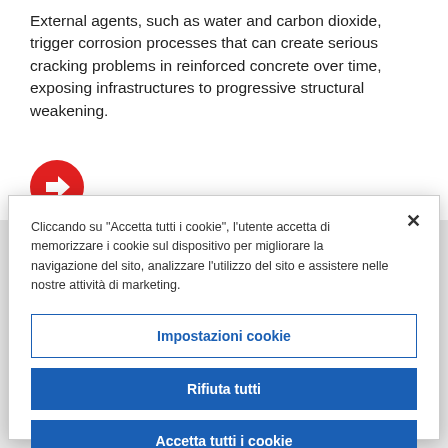External agents, such as water and carbon dioxide, trigger corrosion processes that can create serious cracking problems in reinforced concrete over time, exposing infrastructures to progressive structural weakening.
[Figure (illustration): Red circle with white right-pointing arrow]
Cliccando su "Accetta tutti i cookie", l'utente accetta di memorizzare i cookie sul dispositivo per migliorare la navigazione del sito, analizzare l'utilizzo del sito e assistere nelle nostre attività di marketing.
Impostazioni cookie
Rifiuta tutti
Accetta tutti i cookie